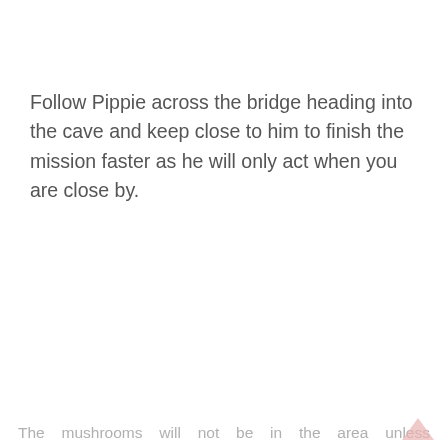Follow Pippie across the bridge heading into the cave and keep close to him to finish the mission faster as he will only act when you are close by.
The mushrooms will not be in the area unless